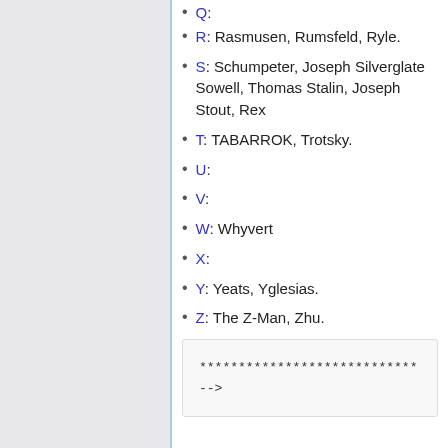Q:
R: Rasmusen, Rumsfeld, Ryle.
S: Schumpeter, Joseph Silverglate Sowell, Thomas Stalin, Joseph Stout, Rex
T: TABARROK, Trotsky.
U:
V:
W: Whyvert
X:
Y: Yeats, Yglesias.
Z: The Z-Man, Zhu.
****************************
 -->